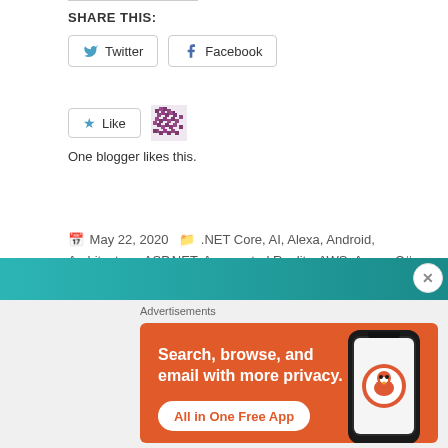SHARE THIS:
[Figure (screenshot): Twitter and Facebook share buttons side by side]
[Figure (screenshot): Like button with star icon and blogger avatar pixelated image next to it]
One blogger likes this.
May 22, 2020   .NET Core, AI, Alexa, Android, Architecture, ASP.NET, Augmented Reality, AWS, Azure, C#, Events, Gaming, iOS, IoT, JavaScript, Kotlin, Meadow, Mobile, Streams, Swift, Uncategorized, UWP, Video, Virtual Reality, Voice, Windows, Xamarin, Xamarin.Forms   Livestream, Stream, Video   Leave a comment
[Figure (screenshot): DuckDuckGo advertisement banner: Search, browse, and email with more privacy. All in One Free App.]